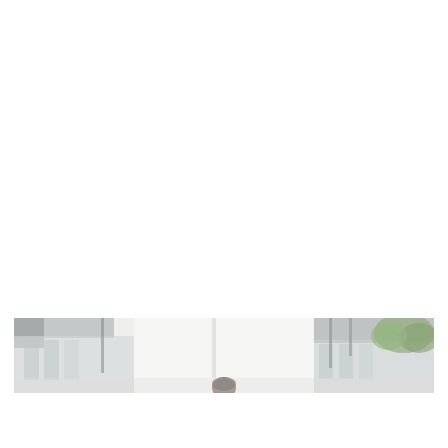[Figure (photo): A partial photograph showing a person standing outdoors in what appears to be an industrial or commercial area with buildings and light poles visible. The image is cropped to show only the top portion of the scene — the tops of buildings, some green foliage on the right, light grey sky, and the very top of a person's head near the center. The photo has a light, slightly overexposed look.]